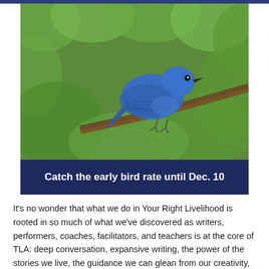[Figure (photo): A blue bird perched on a branch against a blurred green and brown background, with a dark navy banner overlay at the bottom reading 'Catch the early bird rate until Dec. 10']
It's no wonder that what we do in Your Right Livelihood is rooted in so much of what we've discovered as writers, performers, coaches, facilitators, and teachers is at the core of TLA: deep conversation, expansive writing, the power of the stories we live, the guidance we can glean from our creativity, and the importance of building a loving and wise community. Our annual class, Jan. 23 – Mar. 19, features a combination of all of this to help us